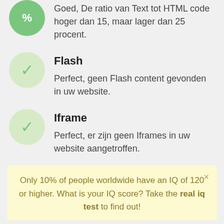Goed, De ratio van Text tot HTML code hoger dan 15, maar lager dan 25 procent.
Flash
Perfect, geen Flash content gevonden in uw website.
Iframe
Perfect, er zijn geen Iframes in uw website aangetroffen.
Only 10% of people worldwide have an IQ of 120 or higher. What is your IQ score? Take the real iq test to find out!